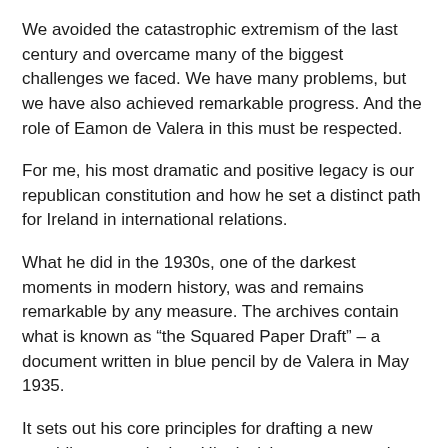We avoided the catastrophic extremism of the last century and overcame many of the biggest challenges we faced. We have many problems, but we have also achieved remarkable progress. And the role of Eamon de Valera in this must be respected.
For me, his most dramatic and positive legacy is our republican constitution and how he set a distinct path for Ireland in international relations.
What he did in the 1930s, one of the darkest moments in modern history, was and remains remarkable by any measure. The archives contain what is known as “the Squared Paper Draft” – a document written in blue pencil by de Valera in May 1935.
It sets out his core principles for drafting a new republican constitution. His decision to propose that the fundamental law of the state could no longer be changed by a simple Dáil majority was profoundly radical.